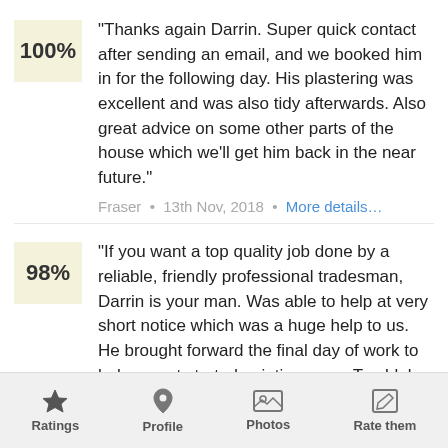"Thanks again Darrin. Super quick contact after sending an email, and we booked him in for the following day. His plastering was excellent and was also tidy afterwards. Also great advice on some other parts of the house which we'll get him back in the near future."
Fraser • 13th Nov, 2018 • More details…
"If you want a top quality job done by a reliable, friendly professional tradesman, Darrin is your man. Was able to help at very short notice which was a huge help to us. He brought forward the final day of work to help us get started painting asap. Top bloke. Thanks Darrin.
"
Dean • 10th Oct, 2018 • More details…
Ratings  Profile  Photos  Rate them